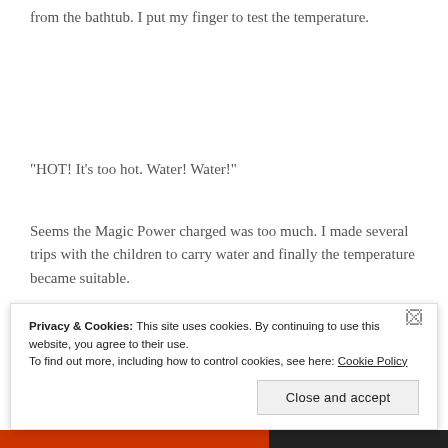from the bathtub. I put my finger to test the temperature.
“HOT! It’s too hot. Water! Water!”
Seems the Magic Power charged was too much. I made several trips with the children to carry water and finally the temperature became suitable.
Privacy & Cookies: This site uses cookies. By continuing to use this website, you agree to their use.
To find out more, including how to control cookies, see here: Cookie Policy
Close and accept